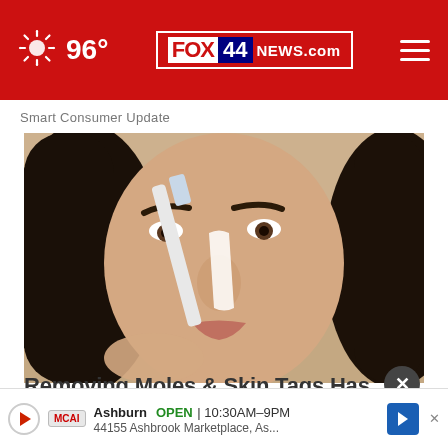96° FOX 44 NEWS.com
Smart Consumer Update
[Figure (photo): Woman applying white cream/product to her nose with a brush, close-up beauty shot with dark hair]
Removing Moles & Skin Tags Has Never Been This
Health
Ashburn  OPEN  10:30AM–9PM  44155 Ashbrook Marketplace, As...